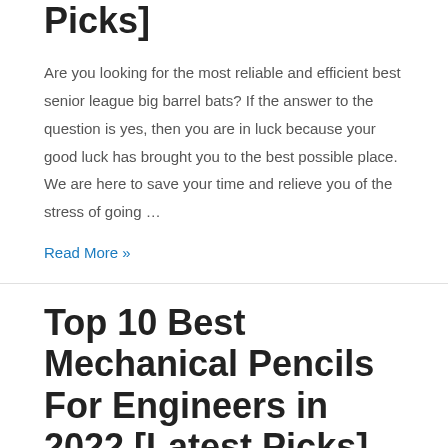Picks]
Are you looking for the most reliable and efficient best senior league big barrel bats? If the answer to the question is yes, then you are in luck because your good luck has brought you to the best possible place. We are here to save your time and relieve you of the stress of going …
Read More »
Top 10 Best Mechanical Pencils For Engineers in 2022 [Latest Picks]
Are you looking for the most reliable and efficient best mechanical pencils for engineers? If the answer to the question is yes, then